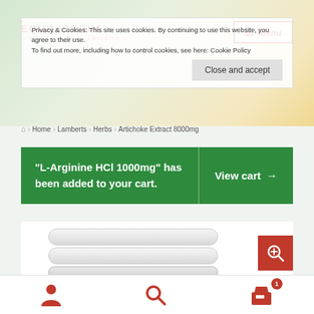Privacy & Cookies: This site uses cookies. By continuing to use this website, you agree to their use. To find out more, including how to control cookies, see here: Cookie Policy
Close and accept
EQUILIBRIUM — HEALTH & SKINCARE — Menu
Home > Lamberts > Herbs > Artichoke Extract 8000mg
"L-Arginine HCl 1000mg" has been added to your cart.
View cart →
[Figure (photo): Product image of supplement tablets/capsules strips in white/clear packaging]
[Figure (other): Zoom/search magnifier icon button in red square]
User account icon | Search icon | Shopping cart icon with badge showing 1 item